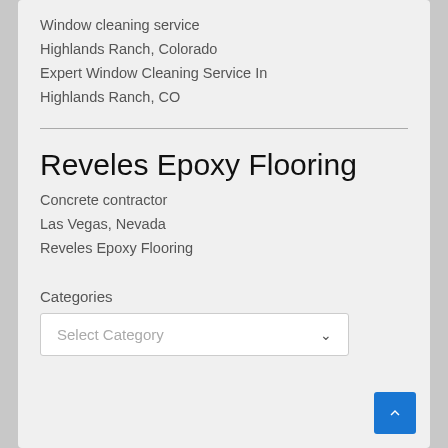Window cleaning service
Highlands Ranch, Colorado
Expert Window Cleaning Service In Highlands Ranch, CO
Reveles Epoxy Flooring
Concrete contractor
Las Vegas, Nevada
Reveles Epoxy Flooring
Categories
Select Category